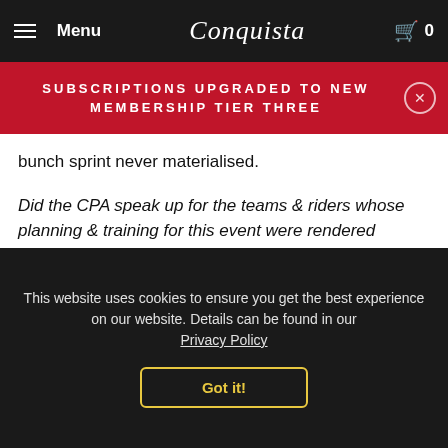Menu | Conquista | 0
SUBSCRIPTIONS UPGRADED TO NEW MEMBERSHIP TIER THREE
bunch sprint never materialised.
Did the CPA speak up for the teams & riders whose planning & training for this event were rendered pointless?
Team Katusha.
Katusha's riders have produced two positive drug tests
This website uses cookies to ensure you get the best experience on our website. Details can be found in our Privacy Policy
Got it!